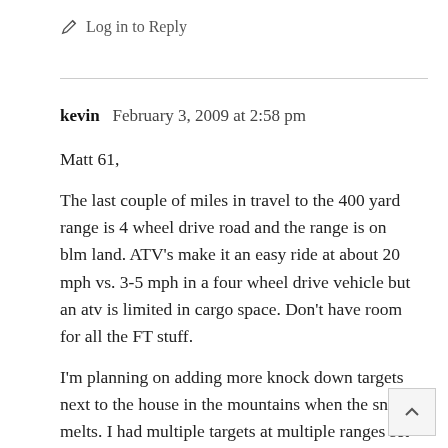Log in to Reply
kevin  February 3, 2009 at 2:58 pm
Matt 61,
The last couple of miles in travel to the 400 yard range is 4 wheel drive road and the range is on blm land. ATV's make it an easy ride at about 20 mph vs. 3-5 mph in a four wheel drive vehicle but an atv is limited in cargo space. Don't have room for all the FT stuff.
I'm planning on adding more knock down targets next to the house in the mountains when the snow melts. I had multiple targets at multiple ranges set up last summer but had a heck of a time with range. I had to clear about 8 big trees and 5-6 big willow bushes to create a safe shooting lane out to about 150 yards.